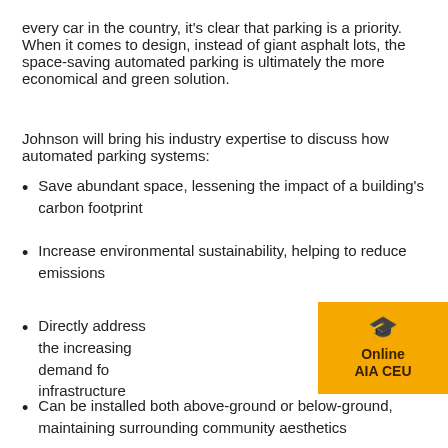every car in the country, it's clear that parking is a priority. When it comes to design, instead of giant asphalt lots, the space-saving automated parking is ultimately the more economical and green solution.
Johnson will bring his industry expertise to discuss how automated parking systems:
Save abundant space, lessening the impact of a building's carbon footprint
Increase environmental sustainability, helping to reduce emissions
Directly address the increasing demand for infrastructure
[Figure (infographic): Orange badge with graduation cap icon and text: Online AIA CEU]
Can be installed both above-ground or below-ground, maintaining surrounding community aesthetics